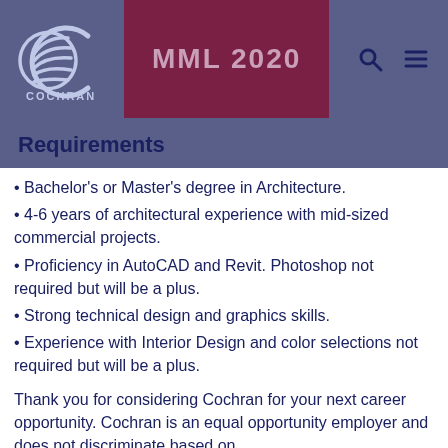[Figure (logo): Cochran company logo with C spiral graphic and COCHRAN text, followed by MML 2020 in dark red badge, search and menu icons on right, all on blue-purple header background]
Requirements
• Bachelor's or Master's degree in Architecture.
• 4-6 years of architectural experience with mid-sized commercial projects.
• Proficiency in AutoCAD and Revit. Photoshop not required but will be a plus.
• Strong technical design and graphics skills.
• Experience with Interior Design and color selections not required but will be a plus.
Thank you for considering Cochran for your next career opportunity. Cochran is an equal opportunity employer and does not discriminate based on...